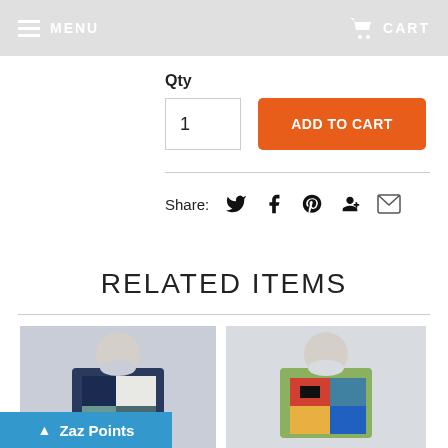MENU   CART
Qty
1
ADD TO CART
Share:
RELATED ITEMS
[Figure (photo): Man wearing a colorful all-over print t-shirt with dark blue/white patchwork design]
[Figure (photo): Man wearing a colorful all-over print t-shirt with impressionist art print]
Zaz Points